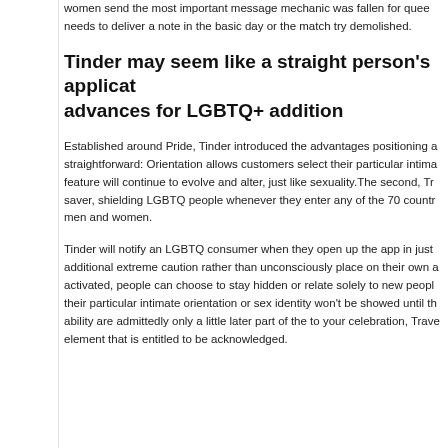women send the most important message mechanic was fallen for quee... needs to deliver a note in the basic day or the match try demolished.
Tinder may seem like a straight person's applicat... advances for LGBTQ+ addition
Established around Pride, Tinder introduced the advantages positioning a... straightforward: Orientation allows customers select their particular intima... feature will continue to evolve and alter, just like sexuality.The second, Tra... saver, shielding LGBTQ people whenever they enter any of the 70 countr... men and women.
Tinder will notify an LGBTQ consumer when they open up the app in just... additional extreme caution rather than unconsciously place on their own a... activated, people can choose to stay hidden or relate solely to new people... their particular intimate orientation or sex identity won't be showed until th... ability are admittedly only a little later part of the to your celebration, Trave... element that is entitled to be acknowledged.